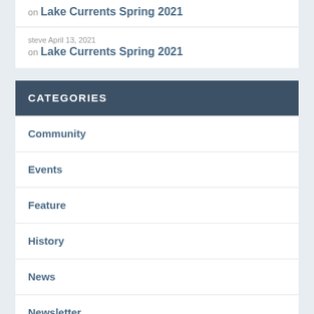on Lake Currents Spring 2021
steve April 13, 2021
on Lake Currents Spring 2021
CATEGORIES
Community
Events
Feature
History
News
Newsletter